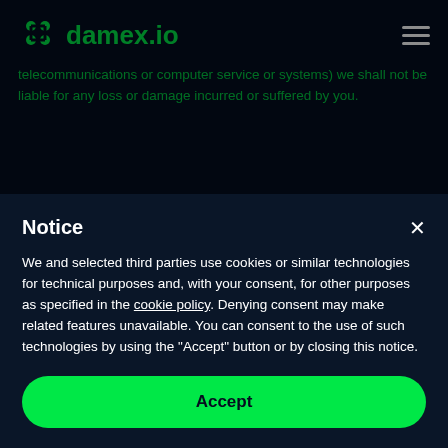[Figure (logo): damex.io logo with green icon and green text on dark navy background]
telecommunications or computer service or systems) we shall not be liable for any loss or damage incurred or suffered by you.
Notice
We and selected third parties use cookies or similar technologies for technical purposes and, with your consent, for other purposes as specified in the cookie policy. Denying consent may make related features unavailable. You can consent to the use of such technologies by using the "Accept" button or by closing this notice.